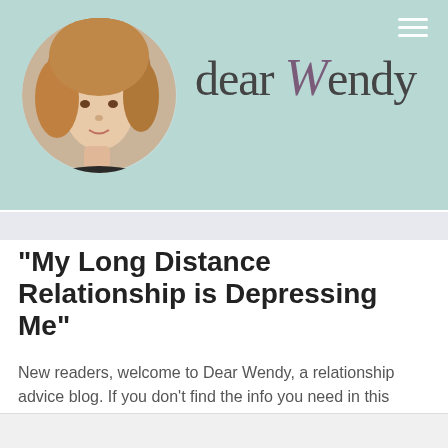[Figure (illustration): Website header banner for 'Dear Wendy' blog. Light teal/mint background with a circular portrait photo of a woman with wavy blonde/auburn hair on the left, and the text 'dear Wendy' in large letters on the right (with 'W' in an italic purple/mauve script style). A hamburger menu icon (three white horizontal lines) is in the top-right corner.]
“My Long Distance Relationship is Depressing Me”
New readers, welcome to Dear Wendy, a relationship advice blog. If you don’t find the info you need in this column, please visit the Dear Wendy archives or the forums (you can even start your own thread), or submit a question for advice. For more long distance advice, click here.